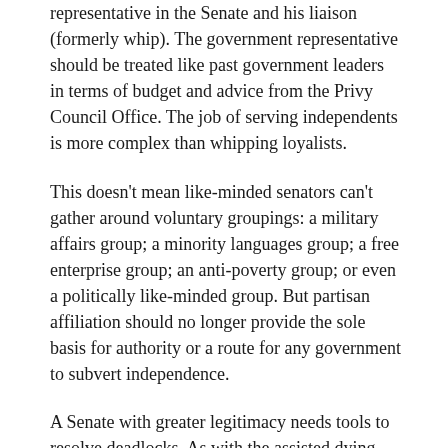representative in the Senate and his liaison (formerly whip). The government representative should be treated like past government leaders in terms of budget and advice from the Privy Council Office. The job of serving independents is more complex than whipping loyalists.
This doesn't mean like-minded senators can't gather around voluntary groupings: a military affairs group; a minority languages group; a free enterprise group; an anti-poverty group; or even a politically like-minded group. But partisan affiliation should no longer provide the sole basis for authority or a route for any government to subvert independence.
A Senate with greater legitimacy needs tools to resolve deadlocks. As with the assisted dying bill, it can satisfy itself by enforcing sober third thought on the House, but when legislation is truly shoddy and outside the mandate given the government (as with the heavily marked-up RCMP unionization bill returned to the Commons in June) there must be options for conflict resolution.